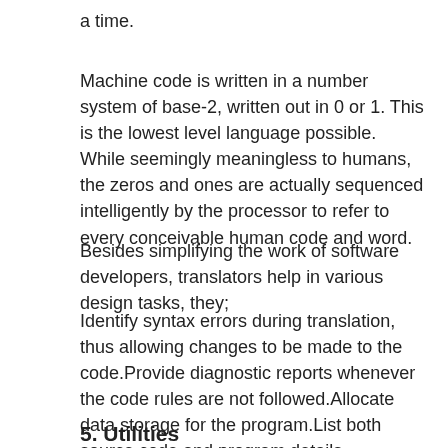a time.
Machine code is written in a number system of base-2, written out in 0 or 1. This is the lowest level language possible. While seemingly meaningless to humans, the zeros and ones are actually sequenced intelligently by the processor to refer to every conceivable human code and word.
Besides simplifying the work of software developers, translators help in various design tasks, they;
Identify syntax errors during translation, thus allowing changes to be made to the code.Provide diagnostic reports whenever the code rules are not followed.Allocate data storage for the program.List both source code and program details.
5. Utilities
Utilities are types of system software which it